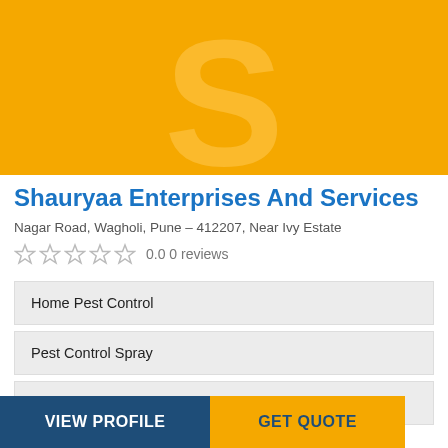[Figure (logo): Yellow banner with large semi-transparent letter S in the center, serving as the company logo/banner for Shauryaa Enterprises And Services]
Shauryaa Enterprises And Services
Nagar Road, Wagholi, Pune – 412207, Near Ivy Estate
0.0 0 reviews
Home Pest Control
Pest Control Spray
Termite Pest Control
VIEW PROFILE
GET QUOTE